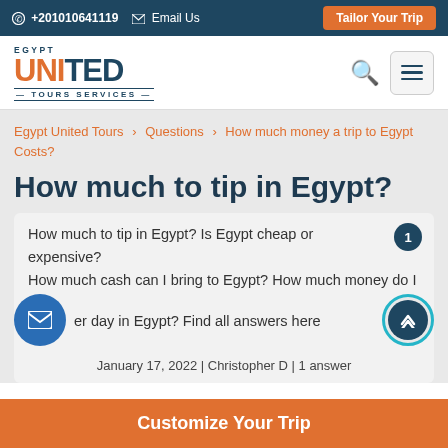+201010641119  Email Us  Tailor Your Trip
[Figure (logo): Egypt United Tours Services logo with orange and navy text]
Egypt United Tours > Questions > How much money a trip to Egypt Costs?
How much to tip in Egypt?
How much to tip in Egypt? Is Egypt cheap or expensive? How much cash can I bring to Egypt? How much money do I need per day in Egypt? Find all answers here
January 17, 2022 | Christopher D | 1 answer
Customize Your Trip